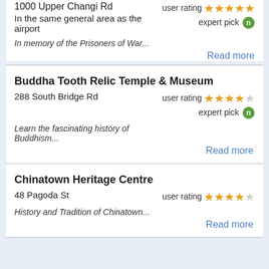1000 Upper Changi Rd
user rating ★★★★★
expert pick
In the same general area as the airport
In memory of the Prisoners of War...
Read more
Buddha Tooth Relic Temple & Museum
288 South Bridge Rd
user rating ★★★★☆
expert pick
Learn the fascinating history of Buddhism...
Read more
Chinatown Heritage Centre
48 Pagoda St
user rating ★★★★☆
History and Tradition of Chinatown...
Read more